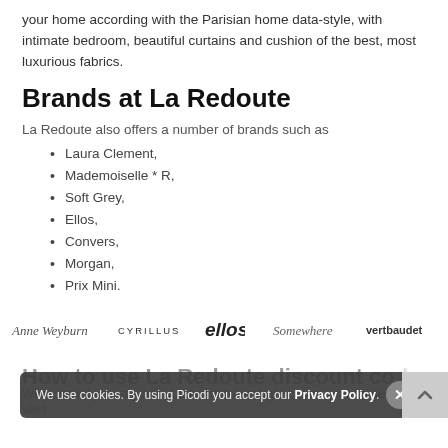your home according with the Parisian home data-style, with intimate bedroom, beautiful curtains and cushion of the best, most luxurious fabrics.
Brands at La Redoute
La Redoute also offers a number of brands such as
Laura Clement,
Mademoiselle * R,
Soft Grey,
Ellos,
Convers,
Morgan,
Prix Mini.
[Figure (logo): Row of brand logos: Anne Weyburn, CYRILLUS, ellos, Somewhere, vertbaudet]
We use cookies. By using Picodi you accept our Privacy Policy.
How to use La Redoute discount codes
What would you say about a beautiful straight cut dress with sequined shirt